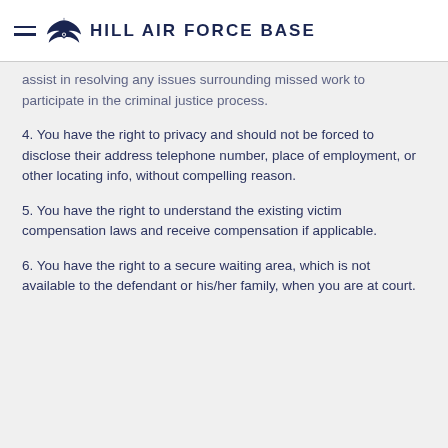HILL AIR FORCE BASE
assist in resolving any issues surrounding missed work to participate in the criminal justice process.
4. You have the right to privacy and should not be forced to disclose their address telephone number, place of employment, or other locating info, without compelling reason.
5. You have the right to understand the existing victim compensation laws and receive compensation if applicable.
6. You have the right to a secure waiting area, which is not available to the defendant or his/her family, when you are at court.